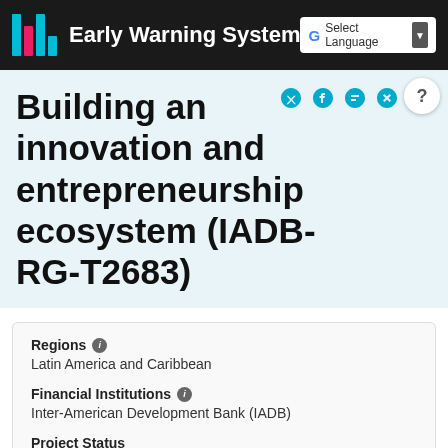Early Warning System
Building an innovation and entrepreneurship ecosystem (IADB-RG-T2683)
Regions
Latin America and Caribbean
Financial Institutions
Inter-American Development Bank (IADB)
Project Status
Approved